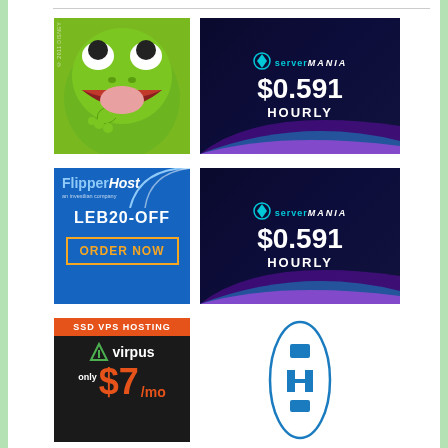[Figure (photo): Kermit the Frog image with green background]
[Figure (illustration): Server Mania ad - $0.591 HOURLY with dark blue background and purple/blue swoosh]
[Figure (illustration): FlipperHost ad with code LEB20-OFF and ORDER NOW button]
[Figure (illustration): Server Mania ad - $0.591 HOURLY (second instance)]
[Figure (illustration): Virpus SSD VPS Hosting ad - $7/mo]
[Figure (logo): Oval logo with blue H letter mark]